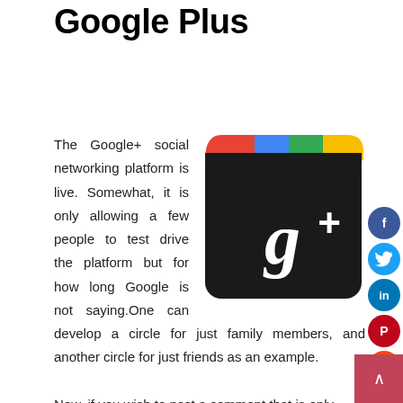Create New Circles in Google Plus
[Figure (logo): Google Plus app icon with colored tabs (red, blue, green, yellow) on dark rounded square background with g+ logo]
The Google+ social networking platform is live. Somewhat, it is only allowing a few people to test drive the platform but for how long Google is not saying.One can develop a circle for just family members, and another circle for just friends as an example.

Now, if you wish to post a comment that is only